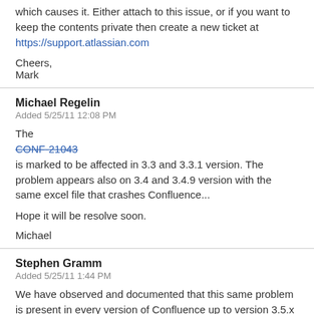which causes it. Either attach to this issue, or if you want to keep the contents private then create a new ticket at https://support.atlassian.com
Cheers,
Mark
Michael Regelin
Added 5/25/11 12:08 PM
The CONF-21043 is marked to be affected in 3.3 and 3.3.1 version. The problem appears also on 3.4 and 3.4.9 version with the same excel file that crashes Confluence...
Hope it will be resolve soon.
Michael
Stephen Gramm
Added 5/25/11 1:44 PM
We have observed and documented that this same problem is present in every version of Confluence up to version 3.5.x when